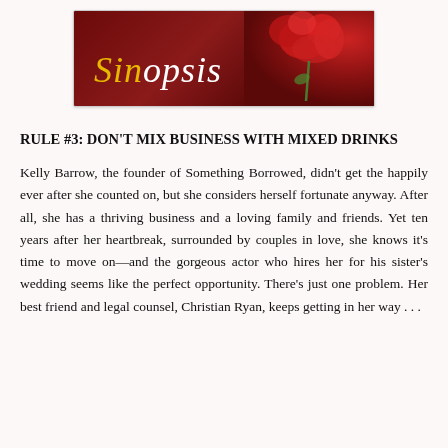[Figure (logo): Sinopsis blog/website logo with dark red background, yellow italic 'Sin' and white italic 'opsis' text, with a red rose motif on the right side]
RULE #3: DON'T MIX BUSINESS WITH MIXED DRINKS
Kelly Barrow, the founder of Something Borrowed, didn't get the happily ever after she counted on, but she considers herself fortunate anyway. After all, she has a thriving business and a loving family and friends. Yet ten years after her heartbreak, surrounded by couples in love, she knows it's time to move on—and the gorgeous actor who hires her for his sister's wedding seems like the perfect opportunity. There's just one problem. Her best friend and legal counsel, Christian Ryan, keeps getting in her way . . .